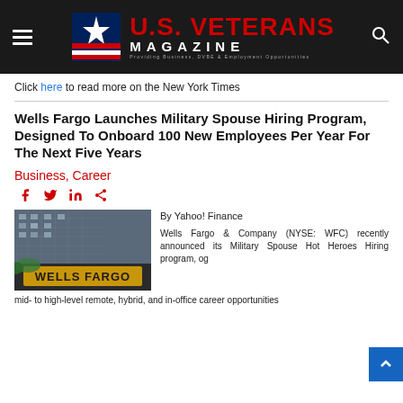U.S. VETERANS MAGAZINE — Providing Business, DVBE & Employment Opportunities
Click here to read more on the New York Times
Wells Fargo Launches Military Spouse Hiring Program, Designed To Onboard 100 New Employees Per Year For The Next Five Years
Business, Career
[Figure (photo): Wells Fargo building exterior with gold Wells Fargo sign]
By Yahoo! Finance

Wells Fargo & Company (NYSE: WFC) recently announced its Military Spouse Home Heroes Hiring program, offering mid- to high-level remote, hybrid, and in-office career opportunities